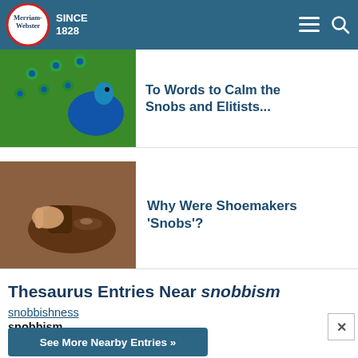Merriam-Webster SINCE 1828
[Figure (photo): Peacock with colorful feathers displayed]
To Words to Calm the Snobs and Elitists...
[Figure (photo): Person polishing a shoe]
Why Were Shoemakers 'Snobs'?
Thesaurus Entries Near snobbism
snobbishness
snobbism
snobby
See More Nearby Entries »